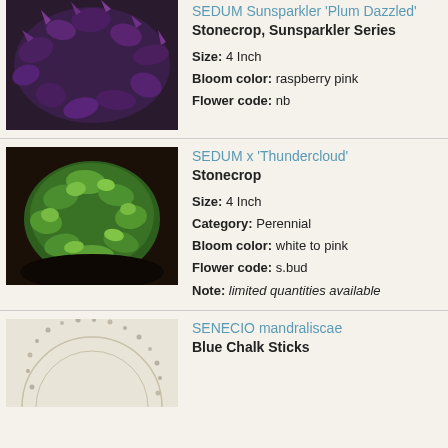[Figure (photo): Dark purple-leaved Sedum Sunsparkler Plum Dazzled plant]
SEDUM Sunsparkler 'Plum Dazzled'
Stonecrop, Sunsparkler Series
Size: 4 Inch
Bloom color: raspberry pink
Flower code: nb
[Figure (photo): Round green mounded Sedum x Thundercloud plant]
SEDUM x 'Thundercloud'
Stonecrop
Size: 4 Inch
Category: Perennial
Bloom color: white to pink
Flower code: s.bud
Note: limited quantities available
[Figure (illustration): Partial illustration of Senecio mandraliscae plant, circular pattern]
SENECIO mandraliscae
Blue Chalk Sticks